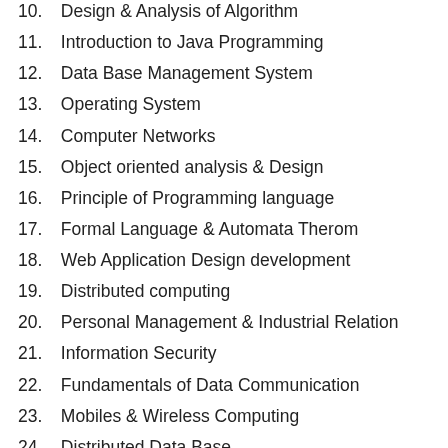10. Design & Analysis of Algorithm
11. Introduction to Java Programming
12. Data Base Management System
13. Operating System
14. Computer Networks
15. Object oriented analysis & Design
16. Principle of Programming language
17. Formal Language & Automata Therom
18. Web Application Design development
19. Distributed computing
20. Personal Management & Industrial Relation
21. Information Security
22. Fundamentals of Data Communication
23. Mobiles & Wireless Computing
24. Distributed Data Base
25. Performance Evaluation of computer system
26. Optimization Theory